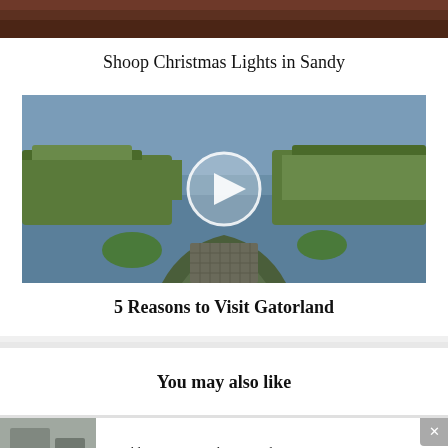[Figure (photo): Top strip of a photo showing dark reddish-brown tones, appears to be bottom of a previous image]
Shoop Christmas Lights in Sandy
[Figure (photo): Video thumbnail of an alligator at Gatorland near water with grass and vegetation, with a circular play button overlay in the center]
5 Reasons to Visit Gatorland
You may also like
[Figure (photo): Small thumbnail image showing a building or outdoor structure]
Franklin Sports Outdoor Family Games